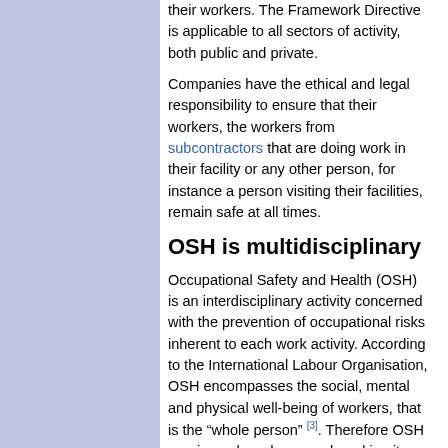their workers. The Framework Directive is applicable to all sectors of activity, both public and private.
Companies have the ethical and legal responsibility to ensure that their workers, the workers from subcontractors that are doing work in their facility or any other person, for instance a person visiting their facilities, remain safe at all times.
OSH is multidisciplinary
Occupational Safety and Health (OSH) is an interdisciplinary activity concerned with the prevention of occupational risks inherent to each work activity. According to the International Labour Organisation, OSH encompasses the social, mental and physical well-being of workers, that is the “whole person” [3]. Therefore OSH requires a broad approach making it necessary to have interactions with other scientific areas, like occupational medicine, public health, industrial engineering, ergonomics, chemistry and psychology. Traditionally OSH